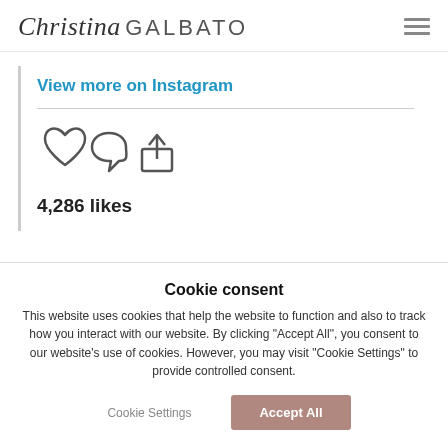Christina GALBATO
View more on Instagram
4,286 likes
Cookie consent
This website uses cookies that help the website to function and also to track how you interact with our website. By clicking "Accept All", you consent to our website's use of cookies. However, you may visit "Cookie Settings" to provide controlled consent.
Cookie Settings
Accept All